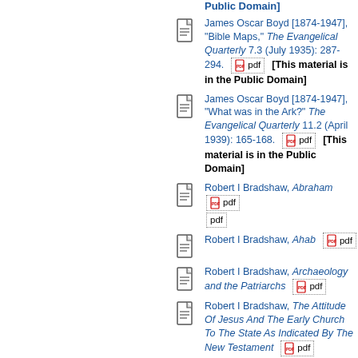Public Domain]
James Oscar Boyd [1874-1947], "Bible Maps," The Evangelical Quarterly 7.3 (July 1935): 287-294. [pdf] [This material is in the Public Domain]
James Oscar Boyd [1874-1947], "What was in the Ark?" The Evangelical Quarterly 11.2 (April 1939): 165-168. [pdf] [This material is in the Public Domain]
Robert I Bradshaw, Abraham [pdf]
Robert I Bradshaw, Ahab [pdf]
Robert I Bradshaw, Archaeology and the Patriarchs [pdf]
Robert I Bradshaw, The Attitude Of Jesus And The Early Church To The State As Indicated By The New Testament [pdf]